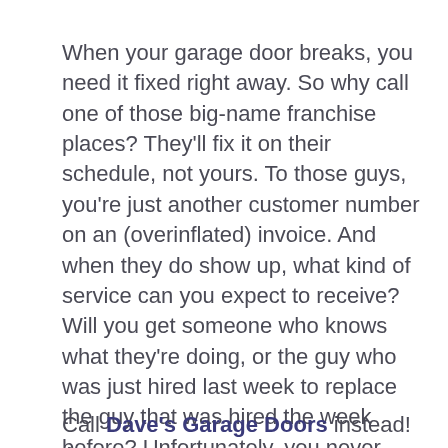When your garage door breaks, you need it fixed right away. So why call one of those big-name franchise places? They'll fix it on their schedule, not yours. To those guys, you're just another customer number on an (overinflated) invoice. And when they do show up, what kind of service can you expect to receive? Will you get someone who knows what they're doing, or the guy who was just hired last week to replace the guy that was hired the week before? Unfortunately, you never know until it's too late.
Call Dave's Garage Doors instead! An